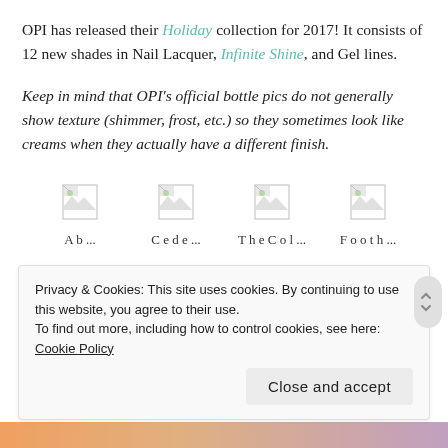OPI has released their Holiday collection for 2017! It consists of 12 new shades in Nail Lacquer, Infinite Shine, and Gel lines.
Keep in mind that OPI’s official bottle pics do not generally show texture (shimmer, frost, etc.) so they sometimes look like creams when they actually have a different finish.
[Figure (photo): Four broken image placeholders in a row]
Privacy & Cookies: This site uses cookies. By continuing to use this website, you agree to their use. To find out more, including how to control cookies, see here: Cookie Policy
Close and accept